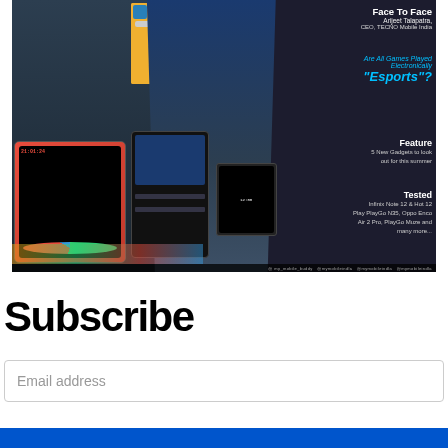[Figure (photo): Magazine cover showing a man in a dark blue polo shirt holding a microphone at an event, with gadget displays in the background including smartwatches and smartphones. The cover has text overlays: 'Face To Face - Arijeet Talapatra, CEO, TECNO Mobile India', 'Are All Games Played Electronically "Esports"?', 'Feature - 5 New Gadgets to look out for this summer', 'Tested - Infinix Note 12 & Hot 12 Play PlayGo N35, Oppo Enco Air 2 Pro, PlayGo Muze and many more...']
Subscribe
Email address